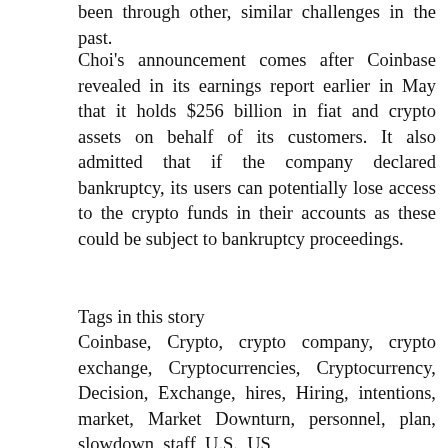been through other, similar challenges in the past.
Choi's announcement comes after Coinbase revealed in its earnings report earlier in May that it holds $256 billion in fiat and crypto assets on behalf of its customers. It also admitted that if the company declared bankruptcy, its users can potentially lose access to the crypto funds in their accounts as these could be subject to bankruptcy proceedings.
Tags in this story
Coinbase, Crypto, crypto company, crypto exchange, Cryptocurrencies, Cryptocurrency, Decision, Exchange, hires, Hiring, intentions, market, Market Downturn, personnel, plan, slowdown, staff, U.S., US
Do you expect other major crypto companies to reconsider their hiring plans? Tell us in the comments section below.
[Figure (photo): Partial photo of a person, cropped at the bottom of the page, showing a man's head and upper shoulders]